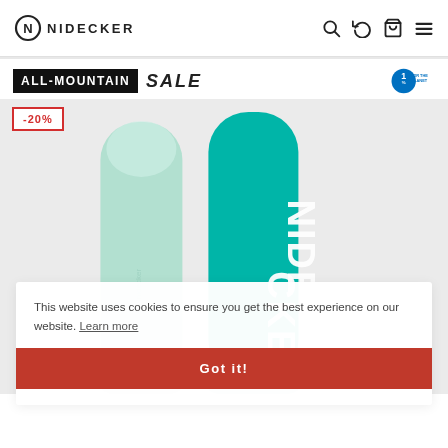NIDECKER — Navigation header with logo, search, compare, cart, and menu icons
ALL-MOUNTAIN SALE
[Figure (screenshot): Two snowboards displayed vertically — left board is mint/pale green color, right board is teal/turquoise with NIDECKER text in white. Both boards shown on a light gray background. -20% discount badge in top left corner.]
This website uses cookies to ensure you get the best experience on our website. Learn more
Got it!